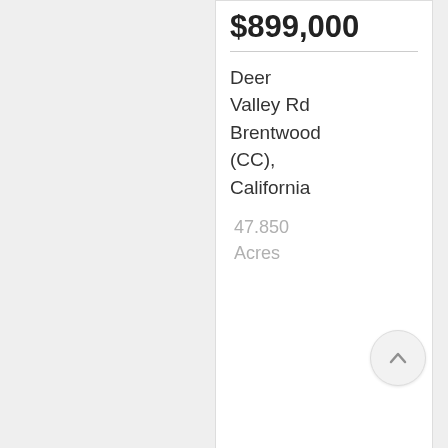$899,000
Deer Valley Rd Brentwood (CC), California
47.850 Acres
[Figure (photo): Exterior photo of a single-family home with green lawn and blue sky]
$899,000
1732 Sesame Ct Brentwood
[Figure (photo): Exterior photo of a single-family home at dusk/evening with purple sky]
$899,000
518 Edgefield St Brentwood